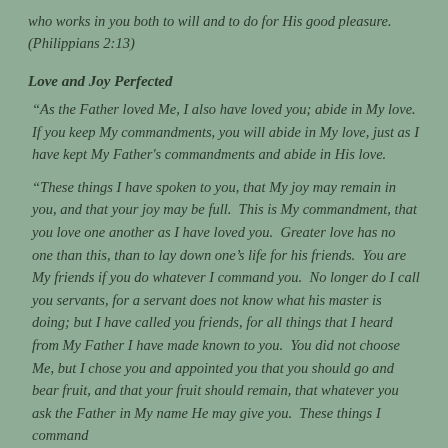who works in you both to will and to do for His good pleasure. (Philippians 2:13)
Love and Joy Perfected
“As the Father loved Me, I also have loved you; abide in My love. If you keep My commandments, you will abide in My love, just as I have kept My Father’s commandments and abide in His love.
“These things I have spoken to you, that My joy may remain in you, and that your joy may be full.  This is My commandment, that you love one another as I have loved you.  Greater love has no one than this, than to lay down one’s life for his friends.  You are My friends if you do whatever I command you.  No longer do I call you servants, for a servant does not know what his master is doing; but I have called you friends, for all things that I heard from My Father I have made known to you.  You did not choose Me, but I chose you and appointed you that you should go and bear fruit, and that your fruit should remain, that whatever you ask the Father in My name He may give you.  These things I command